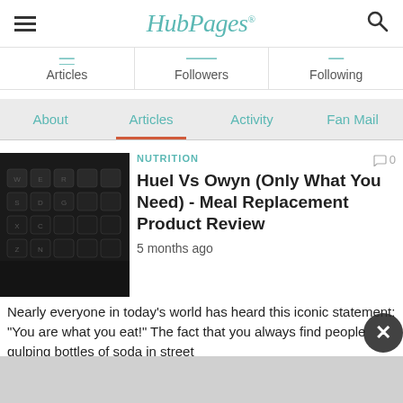HubPages
Articles  Followers  Following
About  Articles  Activity  Fan Mail
NUTRITION  0
Huel Vs Owyn (Only What You Need) - Meal Replacement Product Review
5 months ago
Nearly everyone in today's world has heard this iconic statement: “You are what you eat!” The fact that you always find people gulping bottles of soda in street
[Figure (photo): Close-up black and white photo of a keyboard with keys visible including letters like N, S, Z, X, D, G]